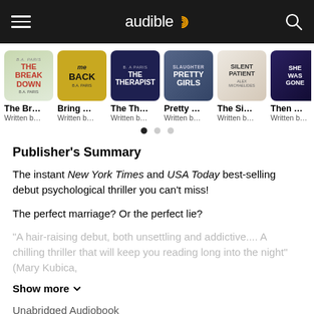audible
[Figure (screenshot): Horizontal scrollable carousel of audiobook covers: The Breakdown, Bring Me Back, The Therapist, Pretty Girls, The Silent Patient, Then She Was Gone]
The Br... Written b... | Bring ... Written b... | The Th... Written b... | Pretty ... Written b... | The Si... Written b... | Then ... Written b...
Publisher's Summary
The instant New York Times and USA Today best-selling debut psychological thriller you can't miss!
The perfect marriage? Or the perfect lie?
"A hair-raising debut, both unsettling and addictive.... A chilling thriller that will keep you reading long into the night" (Mary Kubica,
Show more
Unabridged Audiobook